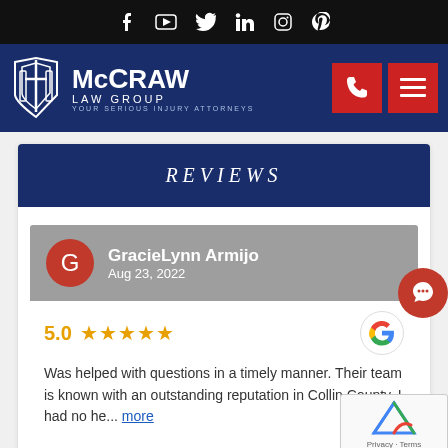Social media icons: Facebook, YouTube, Twitter, LinkedIn, Instagram, Pinterest
[Figure (logo): McCraw Law Group logo — white shield/sword icon with text 'McCRAW LAW GROUP YOUR SERIOUS INJURY ATTORNEYS' on dark blue background. Red phone button and red menu button on right.]
REVIEWS
GracieLynn Armijo
Aug 23, 2022
5.0 ★★★★★
Was helped with questions in a timely manner. Their team is known with an outstanding reputation in Collin County. I had no he... more